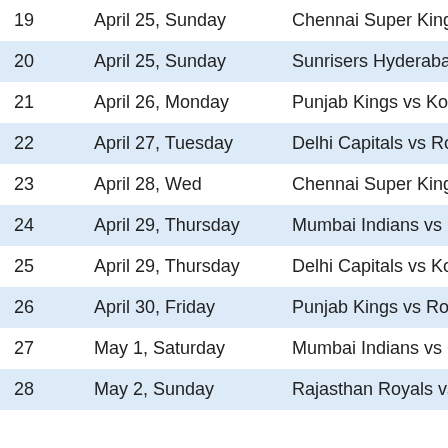| # | Date | Match |
| --- | --- | --- |
| 19 | April 25, Sunday | Chennai Super Kings vs |
| 20 | April 25, Sunday | Sunrisers Hyderabad vs |
| 21 | April 26, Monday | Punjab Kings vs Kolkata |
| 22 | April 27, Tuesday | Delhi Capitals vs Royal C |
| 23 | April 28, Wed | Chennai Super Kings vs |
| 24 | April 29, Thursday | Mumbai Indians vs Rajas |
| 25 | April 29, Thursday | Delhi Capitals vs Kolkata |
| 26 | April 30, Friday | Punjab Kings vs Royal Ch |
| 27 | May 1, Saturday | Mumbai Indians vs Chen |
| 28 | May 2, Sunday | Rajasthan Royals vs Sun |